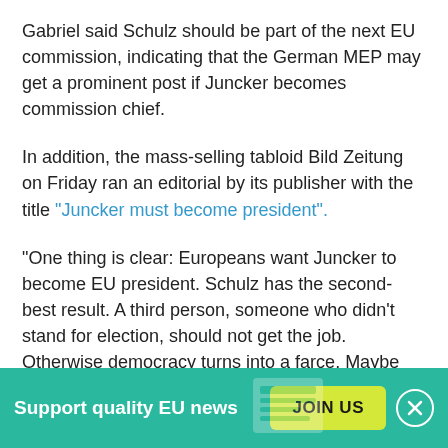Gabriel said Schulz should be part of the next EU commission, indicating that the German MEP may get a prominent post if Juncker becomes commission chief.
In addition, the mass-selling tabloid Bild Zeitung on Friday ran an editorial by its publisher with the title "Juncker must become president".
"One thing is clear: Europeans want Juncker to become EU president. Schulz has the second-best result. A third person, someone who didn't stand for election, should not get the job. Otherwise democracy turns into a farce. Maybe that was possible in the [east German] DDR or in right-wing nationalist banana republics. But not in the
Support quality EU news  JOIN US